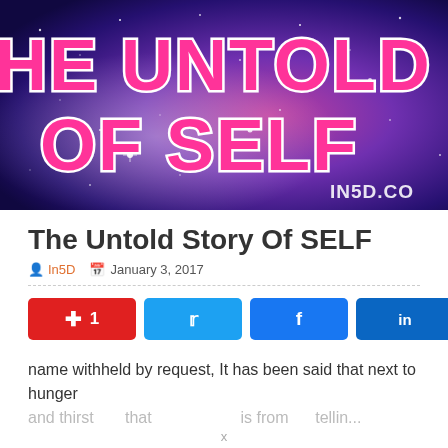[Figure (illustration): Space/galaxy background image with pink and purple nebula and stars, with large bold pink neon outlined text 'HE UNTOLD STOR OF SELF' (partial, cropped) and watermark 'IN5D.CO' in bottom right corner.]
The Untold Story Of SELF
In5D   January 3, 2017
name withheld by request, It has been said that next to hunger and thirst...